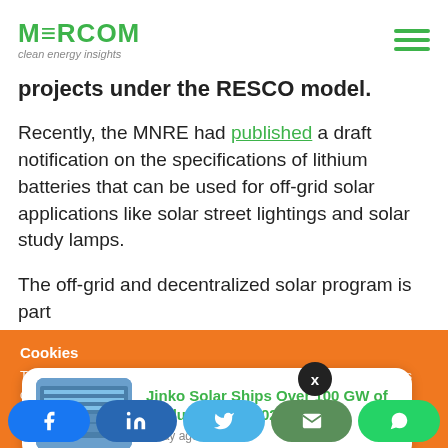MERCOM clean energy insights
projects under the RESCO model.
Recently, the MNRE had published a draft notification on the specifications of lithium batteries that can be used for off-grid solar applications like solar street lightings and solar study lamps.
The off-grid and decentralized solar program is part
Cookies
To make this site work properly, we sometimes place small data files called cookies on your device. Most big websites do this too.
Jinko Solar Ships Over 100 GW of Modules in Q2 2022
1 day ago